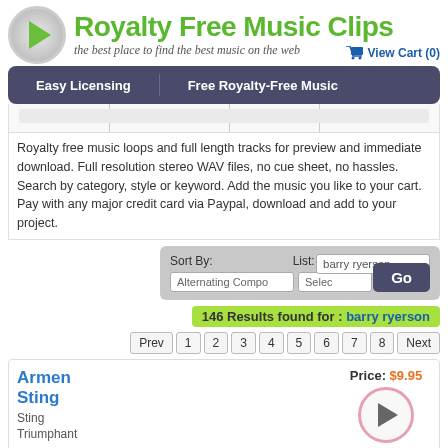Royalty Free Music Clips
the best place to find the best music on the web
View Cart (0)
Easy Licensing | Free Royalty-Free Music
Royalty free music loops and full length tracks for preview and immediate download. Full resolution stereo WAV files, no cue sheet, no hassles. Search by category, style or keyword. Add the music you like to your cart. Pay with any major credit card via Paypal, download and add to your project.
Sort By: Alternating Compo | List: Select | barry ryerson | Go
146 Results found for : barry ryerson
Prev 1 2 3 4 5 6 7 8 Next
Armen Sting
Sting
Triumphant
Price: $9.95